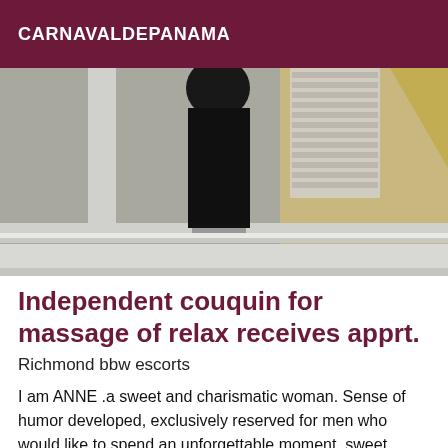CARNAVALDEPANAMA
[Figure (photo): A person wearing a black outfit standing near reflective metallic surfaces and a wall with a textured pattern, photographed in an indoor setting.]
Independent couquin for massage of relax receives apprt.
Richmond bbw escorts
I am ANNE .a sweet and charismatic woman. Sense of humor developed, exclusively reserved for men who would like to spend an unforgettable moment. sweet smiling women. Very nice natural cheeky breasts!